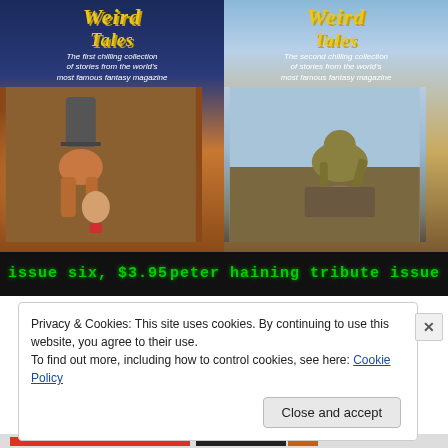[Figure (illustration): Two Weird Tales magazine covers side by side on a black background. Left: 'issue six, $3.95' — first chilling collection of stories from the world's most famous fantasy magazine, featuring a horror scene with a monstrous figure holding a severed head. Right: 'peter haining tribute issue' — second chilling collection, featuring a crouching gargoyle-like creature on a pedestal.]
issue six, $3.95
peter haining tribute issue
Privacy & Cookies: This site uses cookies. By continuing to use this website, you agree to their use.
To find out more, including how to control cookies, see here: Cookie Policy